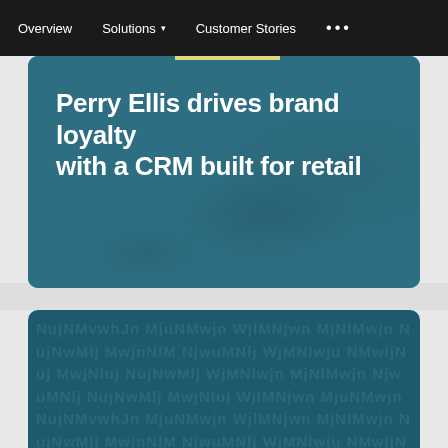Overview   Solutions ▾   Customer Stories   • • •
Perry Ellis drives brand loyalty with a CRM built for retail
[Figure (screenshot): Second content card with dark teal background and decorative watermark-style text pattern, partially visible at bottom of page]